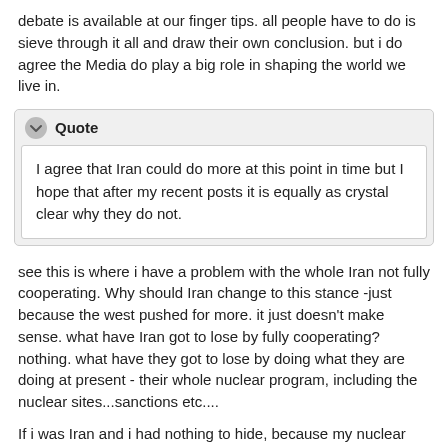debate is available at our finger tips. all people have to do is sieve through it all and draw their own conclusion. but i do agree the Media do play a big role in shaping the world we live in.
Quote
I agree that Iran could do more at this point in time but I hope that after my recent posts it is equally as crystal clear why they do not.
see this is where i have a problem with the whole Iran not fully cooperating. Why should Iran change to this stance -just because the west pushed for more. it just doesn't make sense. what have Iran got to lose by fully cooperating? nothing. what have they got to lose by doing what they are doing at present - their whole nuclear program, including the nuclear sites...sanctions etc....
If i was Iran and i had nothing to hide, because my nuclear program was for energy only i'd have the IAEA in the country permanently, have them present at every major breakthrough with unlimited access to anything and everything at their request. that way no matter what the media says or tries to spin the fact would be Iran has more than fully cooperated.